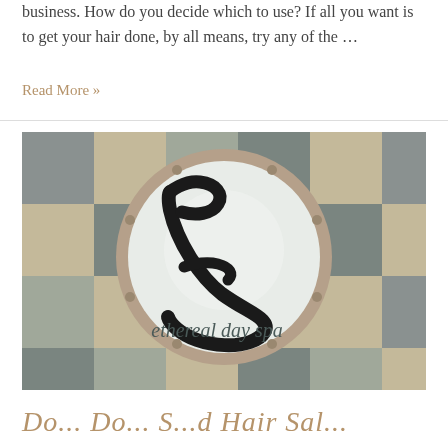business. How do you decide which to use? If all you want is to get your hair done, by all means, try any of the …
Read More »
[Figure (photo): Interior photo of a salon sign with a decorative cursive letter E on a backlit circular disc mounted on a tiled wall. The text 'Ethereal day spa' appears below the E.]
Do... Do... S...d Hair Sal...